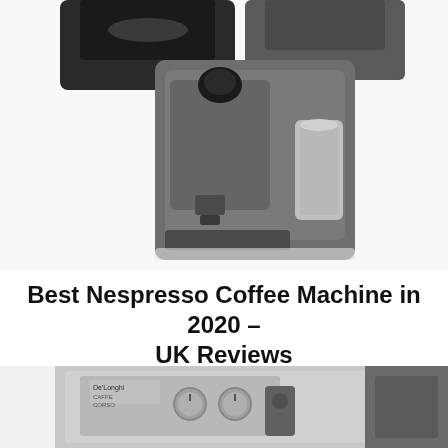[Figure (photo): Top portion of coffee machines (Nespresso machines) partially visible at the top of the page, cropped]
Best Nespresso Coffee Machine in 2020 – UK Reviews
When you choose to buy a coffee machine, you have countless options available to you, and each of those choices has a varying degree of difficulty when it comes to their operation. You'll find that...
VIEW POST
[Figure (photo): Bottom portion showing a De'Longhi Caffe Corso espresso machine control panel, partially visible at the bottom of the page]